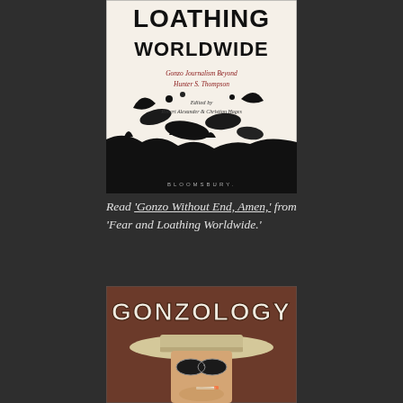[Figure (illustration): Book cover of 'Fear and Loathing Worldwide' - black and white sketchy illustration with bold handwritten-style title text, subtitle text in red cursive 'Gonzo Journalism Beyond Hunter S. Thompson', and 'Edited by Robert Alexander & Christian Hages', published by Bloomsbury]
Read 'Gonzo Without End, Amen,' from 'Fear and Loathing Worldwide.'
[Figure (illustration): Book cover of 'Gonzology' - brown/sepia toned cover with bold stylized white title text 'GONZOLOGY' at top, and below a close-up illustration of a man wearing a white hat and sunglasses with a cigarette]